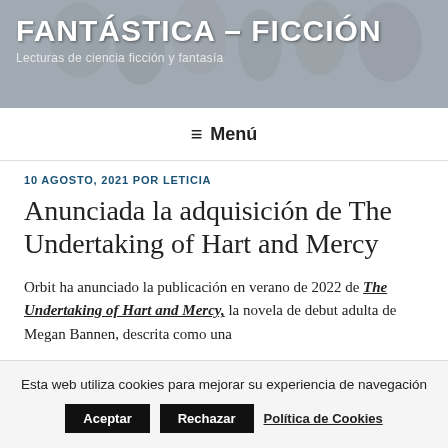FANTÁSTICA – FICCIÓN
Lecturas de ciencia ficción y fantasía
≡ Menú
10 AGOSTO, 2021 POR LETICIA
Anunciada la adquisición de The Undertaking of Hart and Mercy
Orbit ha anunciado la publicación en verano de 2022 de The Undertaking of Hart and Mercy, la novela de debut adulta de Megan Bannen, descrita como una
Esta web utiliza cookies para mejorar su experiencia de navegación   Aceptar   Rechazar   Política de Cookies